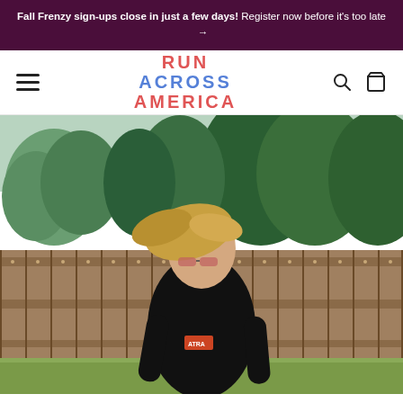Fall Frenzy sign-ups close in just a few days! Register now before it's too late →
[Figure (logo): Run Across America logo with hamburger menu, search, and cart icons in navigation bar]
[Figure (photo): A woman with blonde hair wearing a black long-sleeve shirt with 'ATRA' logo is running outdoors in front of a wooden fence with trees in the background. She is wearing sunglasses and appears to be mid-stride.]